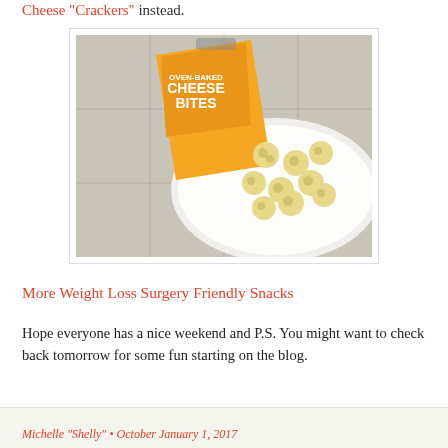Cheese "Crackers" instead.
[Figure (photo): Orange bag of Oven-Baked Cheese Bites product tipped over onto a white plate, with several round cheese bites scattered on the plate, on a light tiled surface.]
More Weight Loss Surgery Friendly Snacks
Hope everyone has a nice weekend and P.S. You might want to check back tomorrow for some fun starting on the blog.
Michelle "Shelly" • October January 1, 2017